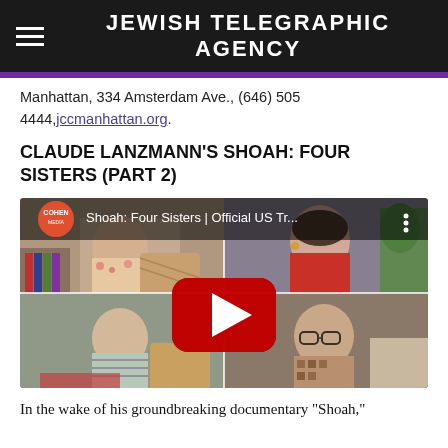JEWISH TELEGRAPHIC AGENCY
Manhattan, 334 Amsterdam Ave., (646) 505 4444, jccmanhattan.org.
CLAUDE LANZMANN'S SHOAH: FOUR SISTERS (PART 2)
[Figure (screenshot): YouTube video thumbnail for 'Shoah: Four Sisters | Official US Tr...' showing four women in interview settings in a 2x2 grid with a YouTube play button overlay and COHEN MEDIA logo]
In the wake of his groundbreaking documentary “Shoah,”